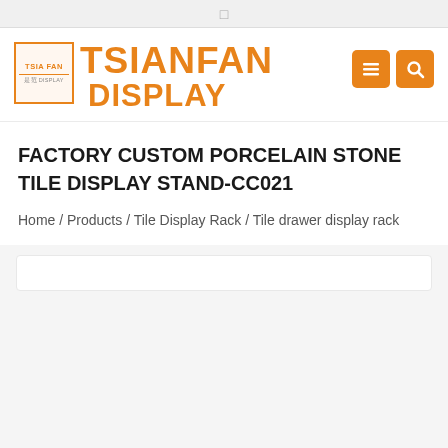☰ [navigation bar icon]
[Figure (logo): TSIANFAN DISPLAY logo with orange brand name text and small logo box with TSIA FAN DISPLAY text]
FACTORY CUSTOM PORCELAIN STONE TILE DISPLAY STAND-CC021
Home / Products / Tile Display Rack / Tile drawer display rack